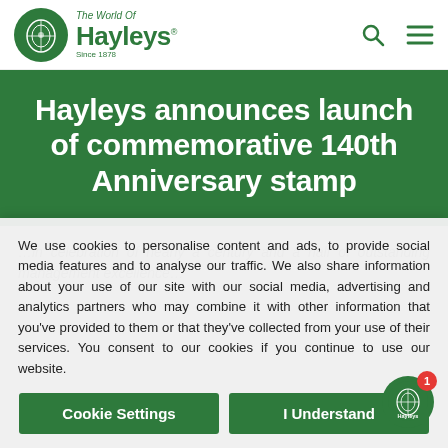The World Of Hayleys
Hayleys announces launch of commemorative 140th Anniversary stamp
We use cookies to personalise content and ads, to provide social media features and to analyse our traffic. We also share information about your use of our site with our social media, advertising and analytics partners who may combine it with other information that you've provided to them or that they've collected from your use of their services. You consent to our cookies if you continue to use our website.
Cookie Settings
I Understand